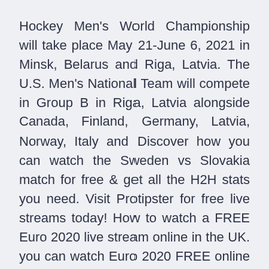Hockey Men's World Championship will take place May 21-June 6, 2021 in Minsk, Belarus and Riga, Latvia. The U.S. Men's National Team will compete in Group B in Riga, Latvia alongside Canada, Finland, Germany, Latvia, Norway, Italy and Discover how you can watch the Sweden vs Slovakia match for free & get all the H2H stats you need. Visit Protipster for free live streams today! How to watch a FREE Euro 2020 live stream online in the UK. you can watch Euro 2020 FREE online for every single game of the tournament!